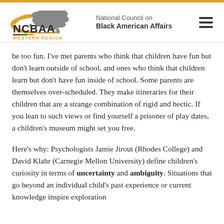[Figure (logo): NCBAA Western Region logo with yellow swoosh and US map silhouette, with text 'National Council on Black American Affairs']
be too fun. I've met parents who think that children have fun but don't learn outside of school, and ones who think that children learn but don't have fun inside of school. Some parents are themselves over-scheduled. They make itineraries for their children that are a strange combination of rigid and hectic. If you lean to such views or find yourself a prisoner of play dates, a children's museum might set you free.
Here's why: Psychologists Jamie Jirout (Rhodes College) and David Klahr (Carnegie Mellon University) define children's curiosity in terms of uncertainty and ambiguity. Situations that go beyond an individual child's past experience or current knowledge inspire exploration